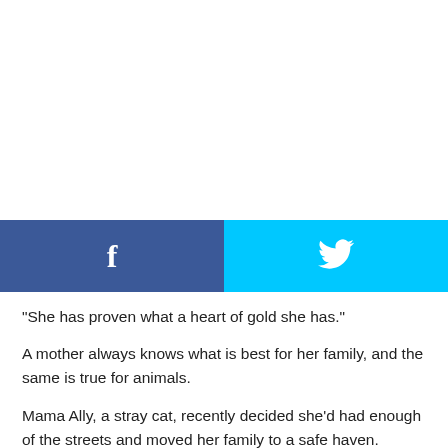[Figure (other): Facebook and Twitter social share buttons bar]
“She has proven what a heart of gold she has.”
A mother always knows what is best for her family, and the same is true for animals.
Mama Ally, a stray cat, recently decided she’d had enough of the streets and moved her family to a safe haven.